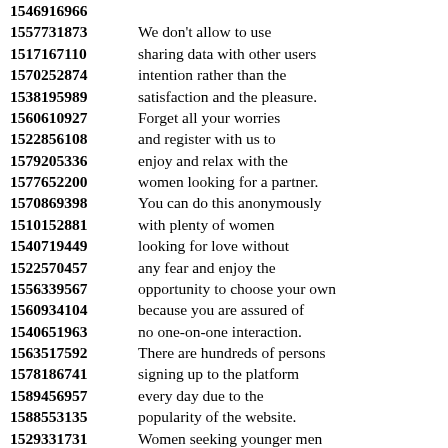1546916966
1557731873 We don't allow to use
1517167110 sharing data with other users
1570252874 intention rather than the
1538195989 satisfaction and the pleasure.
1560610927 Forget all your worries
1522856108 and register with us to
1579205336 enjoy and relax with the
1577652200 women looking for a partner.
1570869398 You can do this anonymously
1510152881 with plenty of women
1540719449 looking for love without
1522570457 any fear and enjoy the
1556339567 opportunity to choose your own
1560934104 because you are assured of
1540651963 no one-on-one interaction.
1563517592 There are hundreds of persons
1578186741 signing up to the platform
1589456957 every day due to the
1588553135 popularity of the website.
1529331731 Women seeking younger men
1595223554 are more accommodating
1599426156 to the needs of the different
1585825436 users on the social media.
1583502646 You need to write down all
1574356101 ...